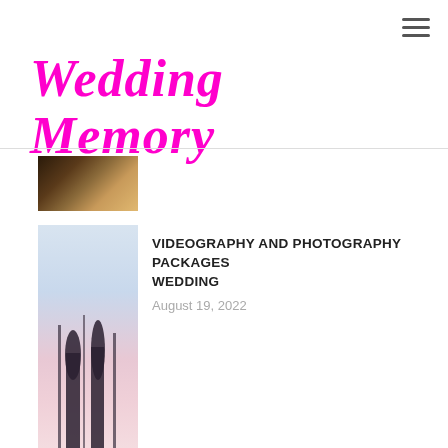[Figure (other): Hamburger menu icon (three horizontal lines) in top-right corner]
Wedding Memory
[Figure (photo): Small thumbnail image with dark brown/amber tones, partially visible at top]
[Figure (photo): Wedding couple silhouette photo with pink/purple sky background]
VIDEOGRAPHY AND PHOTOGRAPHY PACKAGES WEDDING
August 19, 2022